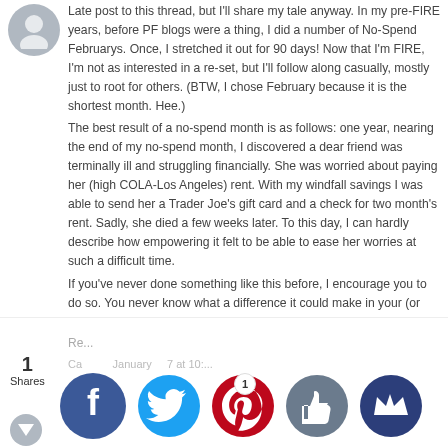Late post to this thread, but I'll share my tale anyway. In my pre-FIRE years, before PF blogs were a thing, I did a number of No-Spend Februarys. Once, I stretched it out for 90 days! Now that I'm FIRE, I'm not as interested in a re-set, but I'll follow along casually, mostly just to root for others. (BTW, I chose February because it is the shortest month. Hee.)
The best result of a no-spend month is as follows: one year, nearing the end of my no-spend month, I discovered a dear friend was terminally ill and struggling financially. She was worried about paying her (high COLA-Los Angeles) rent. With my windfall savings I was able to send her a Trader Joe's gift card and a check for two month's rent. Sadly, she died a few weeks later. To this day, I can hardly describe how empowering it felt to be able to ease her worries at such a difficult time.
If you've never done something like this before, I encourage you to do so. You never know what a difference it could make in your (or perhaps someone else's) life.
Thanks for doing this challenge, Mrs. FW!
1 Shares